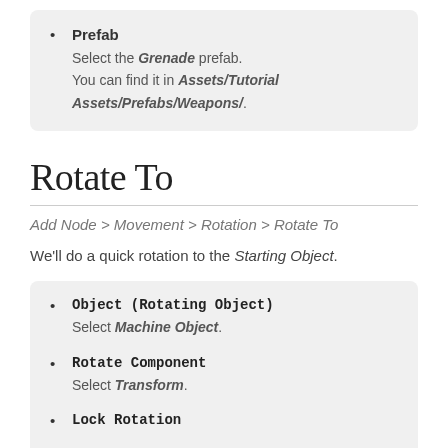Prefab – Select the Grenade prefab. You can find it in Assets/Tutorial Assets/Prefabs/Weapons/.
Rotate To
Add Node > Movement > Rotation > Rotate To
We'll do a quick rotation to the Starting Object.
Object (Rotating Object) – Select Machine Object.
Rotate Component – Select Transform.
Lock Rotation